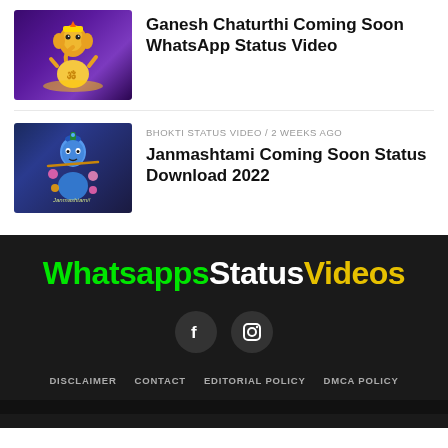[Figure (illustration): Ganesh Chaturthi themed thumbnail - Lord Ganesha illustration on purple background]
Ganesh Chaturthi Coming Soon WhatsApp Status Video
[Figure (illustration): Janmashtami themed thumbnail - Lord Krishna illustration on dark blue background with 'Janmashtami!' text]
BHOKTI STATUS VIDEO / 2 weeks ago
Janmashtami Coming Soon Status Download 2022
[Figure (logo): WhatsappsStatusVideos logo - Whatsapps in green, Status in white, Videos in yellow]
[Figure (illustration): Facebook social icon - dark circle with F]
[Figure (illustration): Instagram social icon - dark circle with camera icon]
DISCLAIMER   CONTACT   EDITORIAL POLICY   DMCA POLICY